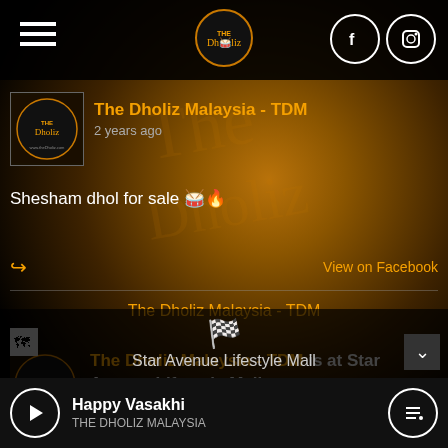The Dholiz Malaysia - TDM app header with hamburger menu, logo, Facebook and Instagram icons
The Dholiz Malaysia - TDM
2 years ago
Shesham dhol for sale 🥁🔥
View on Facebook
The Dholiz Malaysia - TDM
The Dholiz Malaysia - TDM is at Star Avenue Lifestyle Mall.
2 years ago
Star Avenue Lifestyle Mall
Happy Vasakhi
THE DHOLIZ MALAYSIA